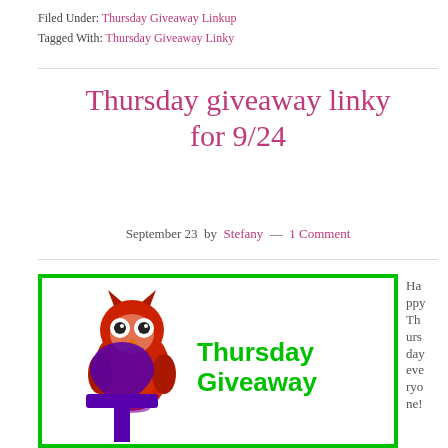Filed Under: Thursday Giveaway Linkup
Tagged With: Thursday Giveaway Linky
Thursday giveaway linky for 9/24
September 23 by Stefany — 1 Comment
[Figure (illustration): Thursday Giveaway graphic with a red owl perched on a purple ankh symbol, green border, and green cursive text reading 'Thursday Giveaway']
Happy Thursday everyone!